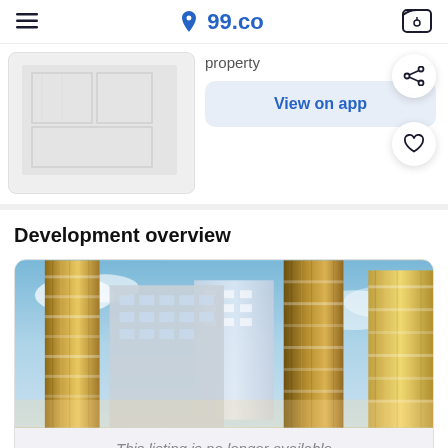99.co
property
View on app
[Figure (illustration): Blurred floor plan image]
Development overview
[Figure (photo): Architectural render of Klimt Cairnhill luxury residential tower with golden facade columns against blue sky]
This listing is no longer available
| Name |  |
| --- | --- |
| Name | Klimt Cairnhill |